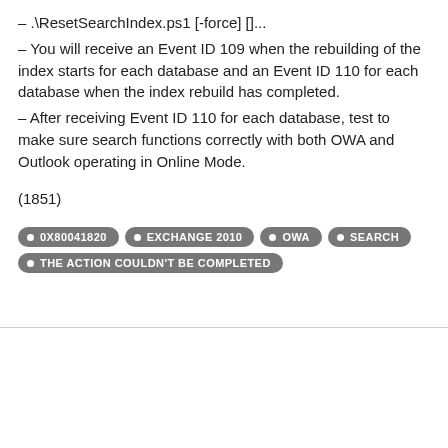– .\ResetSearchIndex.ps1 [-force] []...
– You will receive an Event ID 109 when the rebuilding of the index starts for each database and an Event ID 110 for each database when the index rebuild has completed.
– After receiving Event ID 110 for each database, test to make sure search functions correctly with both OWA and Outlook operating in Online Mode.
(1851)
0X80041820  EXCHANGE 2010  OWA  SEARCH  THE ACTION COULDN'T BE COMPLETED